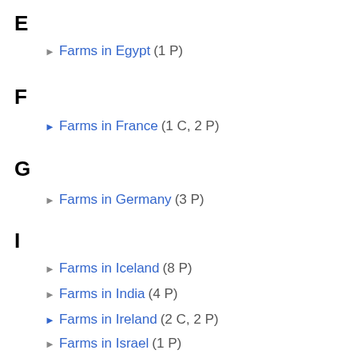E
► Farms in Egypt (1 P)
F
► Farms in France (1 C, 2 P)
G
► Farms in Germany (3 P)
I
► Farms in Iceland (8 P)
► Farms in India (4 P)
► Farms in Ireland (2 C, 2 P)
► Farms in Israel (1 P)
► Farms in Italy (2 P)
J